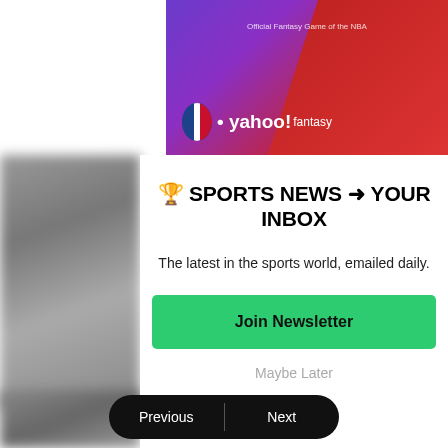[Figure (screenshot): NBA Yahoo Fantasy banner advertisement with purple and red gradient background, NBA logo and Yahoo Fantasy text]
🏆 SPORTS NEWS ➔ YOUR INBOX
The latest in the sports world, emailed daily.
Join Newsletter
Maybe Later
Previous | Next